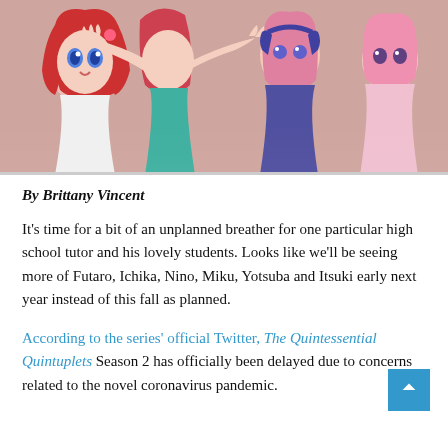[Figure (illustration): Anime illustration showing multiple girls with red/pink hair from The Quintessential Quintuplets anime series, reaching toward the viewer against a colorful background.]
By Brittany Vincent
It’s time for a bit of an unplanned breather for one particular high school tutor and his lovely students. Looks like we’ll be seeing more of Futaro, Ichika, Nino, Miku, Yotsuba and Itsuki early next year instead of this fall as planned.
According to the series’ official Twitter, The Quintessential Quintuplets Season 2 has officially been delayed due to concerns related to the novel coronavirus pandemic.